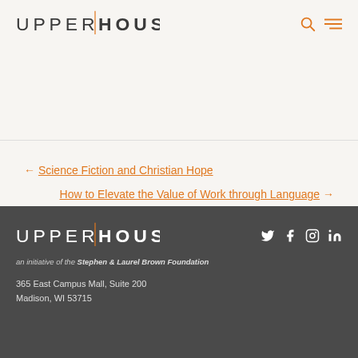UPPERHOUSE
← Science Fiction and Christian Hope
How to Elevate the Value of Work through Language →
UPPERHOUSE
an initiative of the Stephen & Laurel Brown Foundation
365 East Campus Mall, Suite 200
Madison, WI 53715